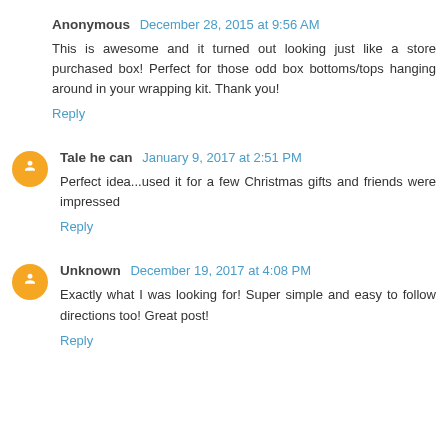Anonymous December 28, 2015 at 9:56 AM
This is awesome and it turned out looking just like a store purchased box! Perfect for those odd box bottoms/tops hanging around in your wrapping kit. Thank you!
Reply
Tale he can January 9, 2017 at 2:51 PM
Perfect idea...used it for a few Christmas gifts and friends were impressed
Reply
Unknown December 19, 2017 at 4:08 PM
Exactly what I was looking for! Super simple and easy to follow directions too! Great post!
Reply